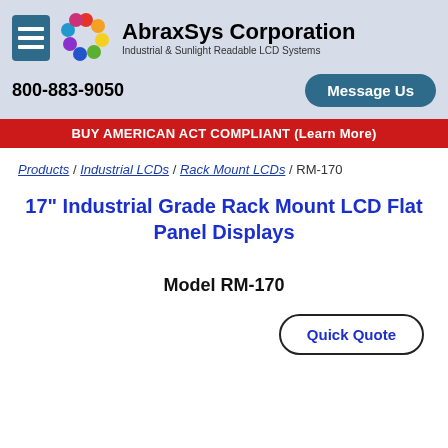AbraxSys Corporation - Industrial & Sunlight Readable LCD Systems
800-883-9050
Message Us
BUY AMERICAN ACT COMPLIANT (Learn More)
Products / Industrial LCDs / Rack Mount LCDs / RM-170
17" Industrial Grade Rack Mount LCD Flat Panel Displays
Model RM-170
Quick Quote